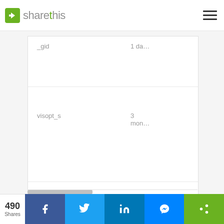[Figure (screenshot): ShareThis website header with green logo icon and hamburger menu]
| Name | Expiry |
| --- | --- |
| _gid | 1 da… |
| visopt_s | 3 mon… |
[Figure (screenshot): Social share bar with 490 Shares count, Facebook, Twitter, LinkedIn, Messenger, and ShareThis buttons]